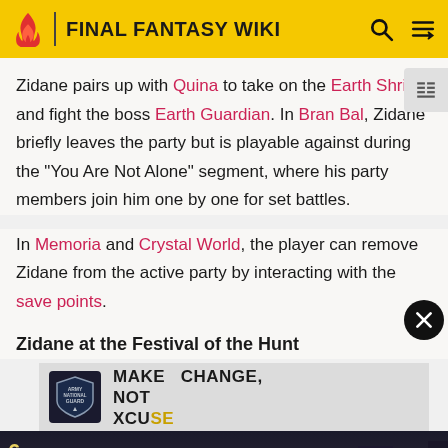FINAL FANTASY WIKI
Zidane pairs up with Quina to take on the Earth Shrine and fight the boss Earth Guardian. In Bran Bal, Zidane briefly leaves the party but is playable against during the "You Are Not Alone" segment, where his party members join him one by one for set battles.
In Memoria and Crystal World, the player can remove Zidane from the active party by interacting with the save points.
Zidane at the Festival of the Hunt
[Figure (screenshot): Advertisement banner for Army National Guard: MAKE CHANGE, NOT XCUSE]
[Figure (screenshot): Dark screenshot of a game scene, appears to show a town or festival area with HUD element showing '6:']